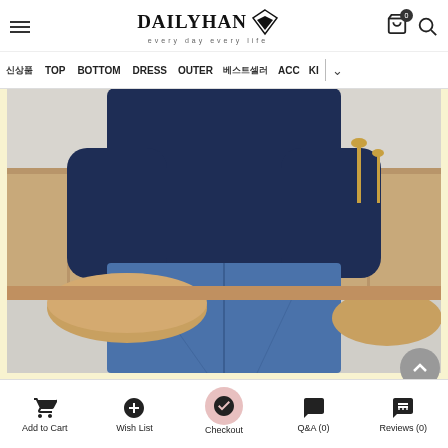DAILY HAN — every day every life
신상품 | TOP | BOTTOM | DRESS | OUTER | 베스트셀러 | ACC | KI
[Figure (photo): Man in navy sweatshirt and blue jeans sitting at a wooden table in a cafe-style setting]
Add to Cart | Wish List | Checkout | Q&A (0) | Reviews (0)